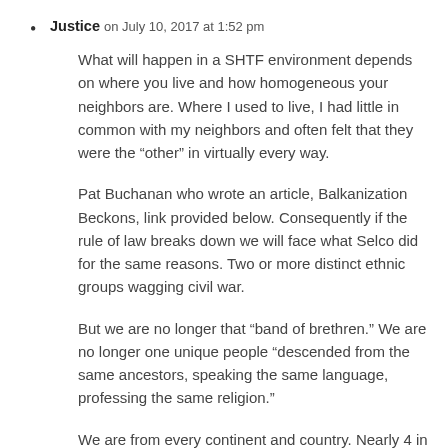Justice on July 10, 2017 at 1:52 pm

What will happen in a SHTF environment depends on where you live and how homogeneous your neighbors are. Where I used to live, I had little in common with my neighbors and often felt that they were the “other” in virtually every way.

Pat Buchanan who wrote an article, Balkanization Beckons, link provided below. Consequently if the rule of law breaks down we will face what Selco did for the same reasons. Two or more distinct ethnic groups wagging civil war.

But we are no longer that “band of brethren.” We are no longer one unique people “descended from the same ancestors, speaking the same language, professing the same religion.”

We are from every continent and country. Nearly 4 in 10 Americans trace their ancestry to Asia, Africa and Latin America. We are a multiracial,